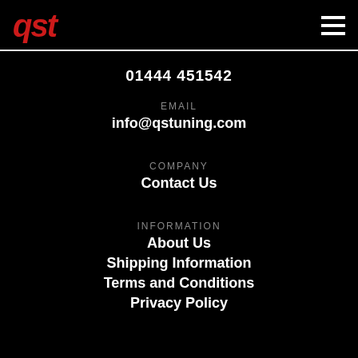qst
01444 451542
EMAIL
info@qstuning.com
COMPANY
Contact Us
INFORMATION
About Us
Shipping Information
Terms and Conditions
Privacy Policy